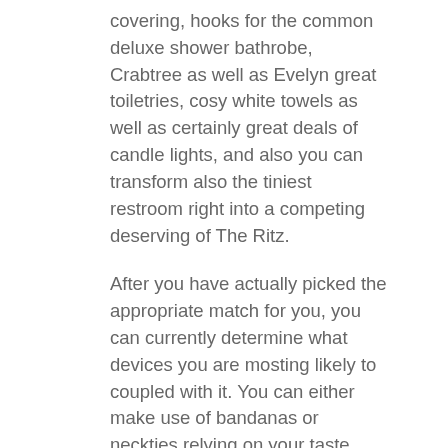covering, hooks for the common deluxe shower bathrobe, Crabtree as well as Evelyn great toiletries, cosy white towels as well as certainly great deals of candle lights, and also you can transform also the tiniest restroom right into a competing deserving of The Ritz.
After you have actually picked the appropriate match for you, you can currently determine what devices you are mosting likely to coupled with it. You can either make use of bandanas or neckties relying on your taste choice.
Generally, the basic shade for males matches differs from light and also dark shades such as black as well as various tones of Grey. Product of the match is extremely crucial in picking high quality guys fits for the objective of sturdiness and also convenience. The layout of the fits differs from the information of the closet and also just how it is buttoned.